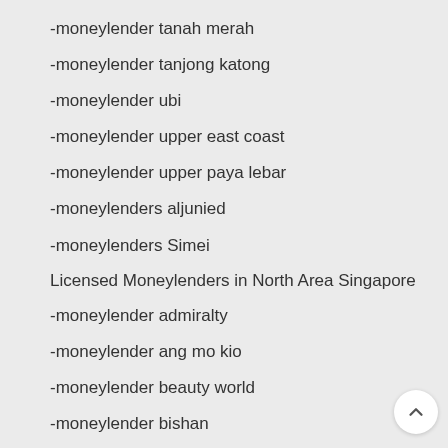-moneylender tanah merah
-moneylender tanjong katong
-moneylender ubi
-moneylender upper east coast
-moneylender upper paya lebar
-moneylenders aljunied
-moneylenders Simei
Licensed Moneylenders in North Area Singapore
-moneylender admiralty
-moneylender ang mo kio
-moneylender beauty world
-moneylender bishan